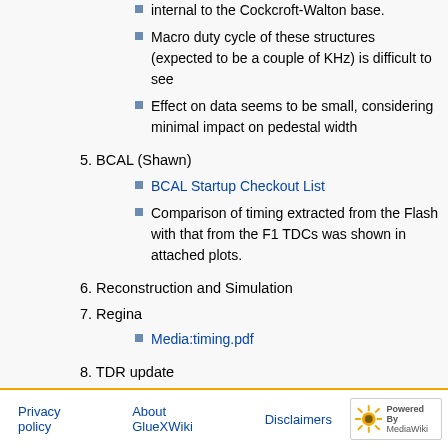internal to the Cockcroft-Walton base.
Macro duty cycle of these structures (expected to be a couple of KHz) is difficult to see
Effect on data seems to be small, considering minimal impact on pedestal width
5. BCAL (Shawn)
BCAL Startup Checkout List
Comparison of timing extracted from the Flash with that from the F1 TDCs was shown in attached plots.
6. Reconstruction and Simulation
7. Regina
Media:timing.pdf
8. TDR update
9. Calibration
10. Any other business
Privacy policy   About GlueXWiki   Disclaimers   [Powered by MediaWiki]